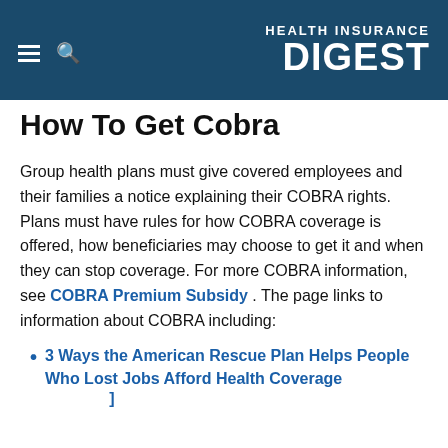HEALTH INSURANCE DIGEST
How To Get Cobra
Group health plans must give covered employees and their families a notice explaining their COBRA rights. Plans must have rules for how COBRA coverage is offered, how beneficiaries may choose to get it and when they can stop coverage. For more COBRA information, see COBRA Premium Subsidy . The page links to information about COBRA including:
3 Ways the American Rescue Plan Helps People Who Lost Jobs Afford Health Coverage ]